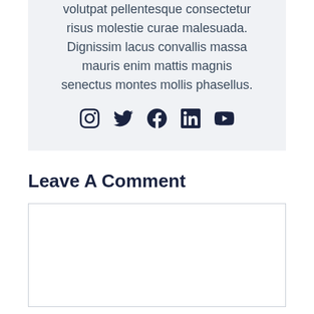volutpat pellentesque consectetur risus molestie curae malesuada. Dignissim lacus convallis massa mauris enim mattis magnis senectus montes mollis phasellus.
[Figure (other): Row of 5 social media icons: Instagram, Twitter, Facebook, LinkedIn, YouTube]
Leave A Comment